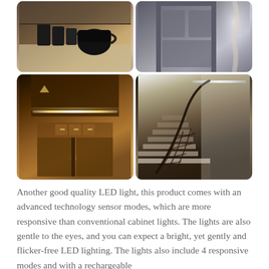[Figure (photo): 2x2 grid of four photos: top-left shows kitchen counter with black kettle and canisters, top-right shows a door/window with light streaming in, bottom-left shows a wooden cabinet illuminated by an LED strip light, bottom-right shows a curved staircase with decorative iron railing illuminated by LED light.]
Another good quality LED light, this product comes with an advanced technology sensor modes, which are more responsive than conventional cabinet lights. The lights are also gentle to the eyes, and you can expect a bright, yet gently and flicker-free LED lighting. The lights also include 4 responsive modes and with a rechargeable